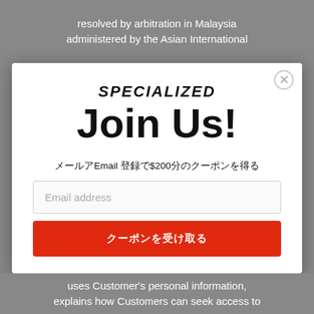resolved by arbitration in Malaysia administered by the Asian International
[Figure (screenshot): Modal popup for Specialized email signup with logo, 'Join Us!' heading, promotional text with Japanese characters mentioning Email and $200, email input field, and red submit button with Japanese text]
uses Customer's personal information, explains how Customers can seek access to